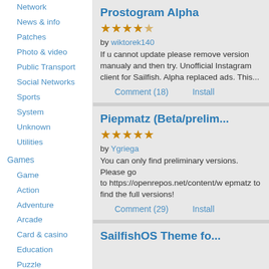Network
News & info
Patches
Photo & video
Public Transport
Social Networks
Sports
System
Unknown
Utilities
Games
Game
Action
Adventure
Arcade
Card & casino
Education
Puzzle
Sports
Strategy
Trivia
Translations
Prostogram Alpha
★★★★½
by wiktorek140
If u cannot update please remove version manualy and then try. Unofficial Instagram client for Sailfish. Alpha replaced ads. This...
Comment (18)  Install
Piepmatz (Beta/prelim...
★★★★★
by Ygriega
You can only find preliminary versions. Please go to https://openrepos.net/content/w epmatz to find the full versions!
Comment (29)  Install
SailfishOS Theme fo...